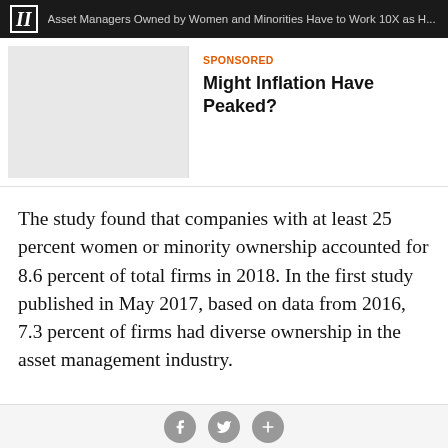II  Asset Managers Owned by Women and Minorities Have to Work 10X as H...
[Figure (other): Sponsored advertisement block with gray image placeholder on left and text on right]
The study found that companies with at least 25 percent women or minority ownership accounted for 8.6 percent of total firms in 2018. In the first study published in May 2017, based on data from 2016, 7.3 percent of firms had diverse ownership in the asset management industry.
When it came to the absolute number of firms, growth was significant. The number of diverse-owned private equity funds grew 60 percent, from 362 to 577; real estate
Social share icons: Facebook, Twitter, Plus